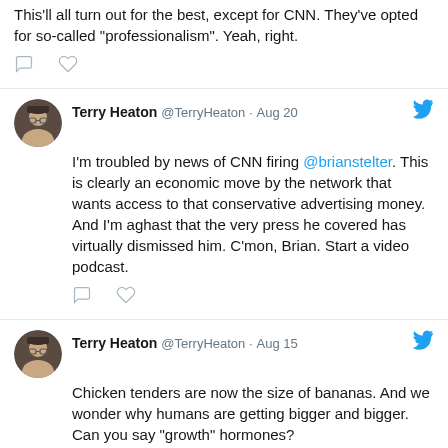This'll all turn out for the best, except for CNN. They've opted for so-called "professionalism". Yeah, right.
Terry Heaton @TerryHeaton · Aug 20 — I'm troubled by news of CNN firing @brianstelter. This is clearly an economic move by the network that wants access to that conservative advertising money. And I'm aghast that the very press he covered has virtually dismissed him. C'mon, Brian. Start a video podcast.
Terry Heaton @TerryHeaton · Aug 15 — Chicken tenders are now the size of bananas. And we wonder why humans are getting bigger and bigger. Can you say "growth" hormones?